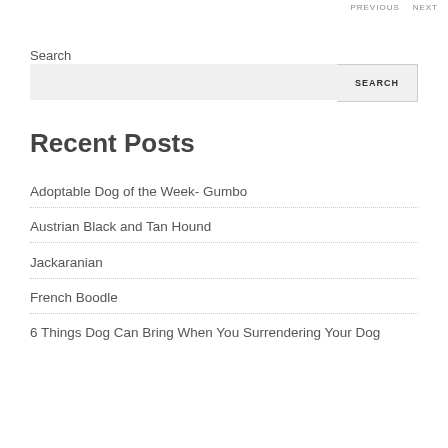PREVIOUS  NEXT
Search
SEARCH
Recent Posts
Adoptable Dog of the Week- Gumbo
Austrian Black and Tan Hound
Jackaranian
French Boodle
6 Things Dog Can Bring When You Surrendering Your Dog